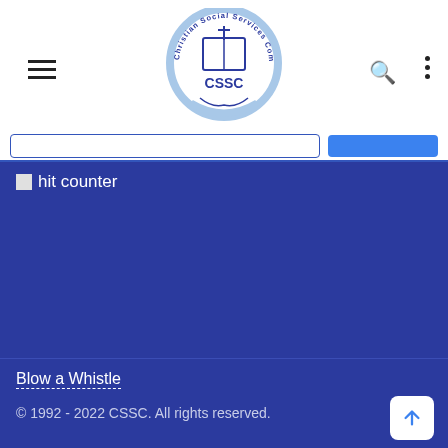CSSC - Christian Social Services Commission header navigation
[Figure (logo): CSSC - Christian Social Services Commission circular logo with book, cross, and handshake imagery]
hit counter
Blow a Whistle
© 1992 - 2022 CSSC. All rights reserved.